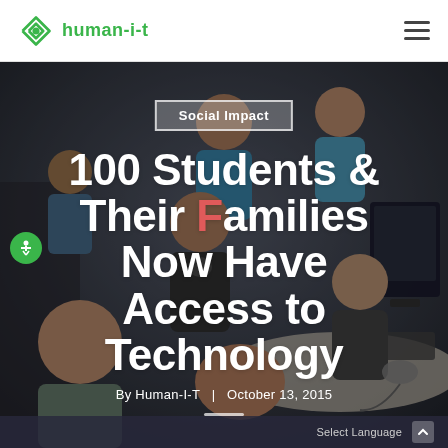human-i-t
[Figure (photo): Children gathered around computers in a classroom, viewed from above, working together on technology devices.]
Social Impact
100 Students & Their Families Now Have Access to Technology
By Human-I-T  |  October 13, 2015
Select Language